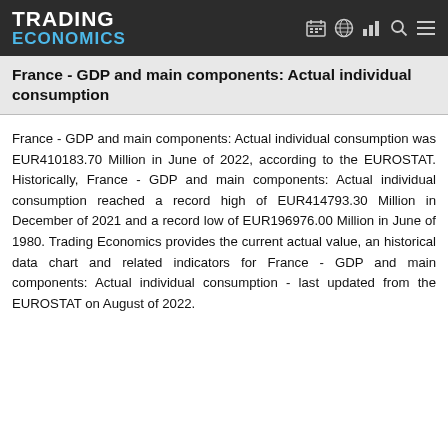TRADING ECONOMICS
France - GDP and main components: Actual individual consumption
France - GDP and main components: Actual individual consumption was EUR410183.70 Million in June of 2022, according to the EUROSTAT. Historically, France - GDP and main components: Actual individual consumption reached a record high of EUR414793.30 Million in December of 2021 and a record low of EUR196976.00 Million in June of 1980. Trading Economics provides the current actual value, an historical data chart and related indicators for France - GDP and main components: Actual individual consumption - last updated from the EUROSTAT on August of 2022.